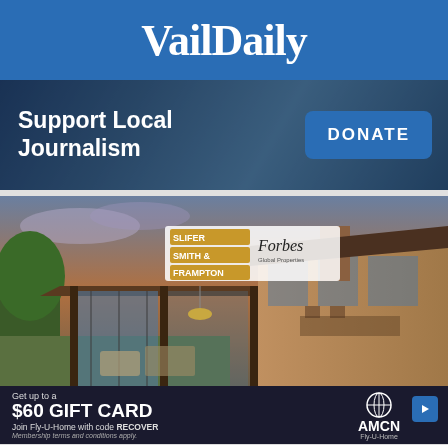VailDaily
[Figure (screenshot): Support Local Journalism banner with blue background and DONATE button]
[Figure (photo): Slifer Smith & Frampton / Forbes real estate advertisement showing modern home exterior with covered patio]
[Figure (screenshot): AMCN Fly-U-Home advertisement: Get up to a $60 GIFT CARD, Join Fly-U-Home with code RECOVER. Membership terms and conditions apply.]
Home   Trending   Sections